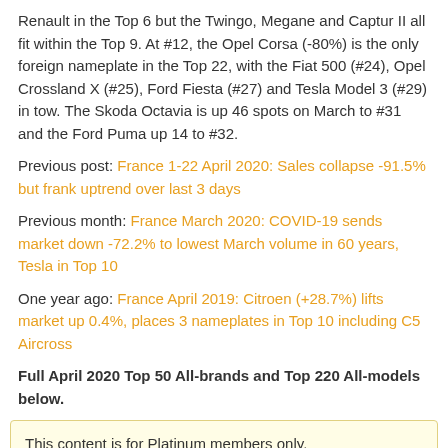Renault in the Top 6 but the Twingo, Megane and Captur II all fit within the Top 9. At #12, the Opel Corsa (-80%) is the only foreign nameplate in the Top 22, with the Fiat 500 (#24), Opel Crossland X (#25), Ford Fiesta (#27) and Tesla Model 3 (#29) in tow. The Skoda Octavia is up 46 spots on March to #31 and the Ford Puma up 14 to #32.
Previous post: France 1-22 April 2020: Sales collapse -91.5% but frank uptrend over last 3 days
Previous month: France March 2020: COVID-19 sends market down -72.2% to lowest March volume in 60 years, Tesla in Top 10
One year ago: France April 2019: Citroen (+28.7%) lifts market up 0.4%, places 3 nameplates in Top 10 including C5 Aircross
Full April 2020 Top 50 All-brands and Top 220 All-models below.
This content is for Platinum members only.